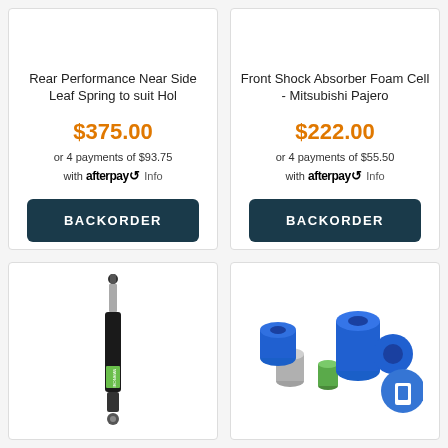Rear Performance Near Side Leaf Spring to suit Hol
$375.00
or 4 payments of $93.75 with afterpay Info
BACKORDER
Front Shock Absorber Foam Cell - Mitsubishi Pajero
$222.00
or 4 payments of $55.50 with afterpay Info
BACKORDER
[Figure (photo): Ironman shock absorber product photo - tall black cylindrical shock absorber]
[Figure (photo): Blue polyurethane suspension bushes/bushings and metal sleeve components with mobile badge overlay]